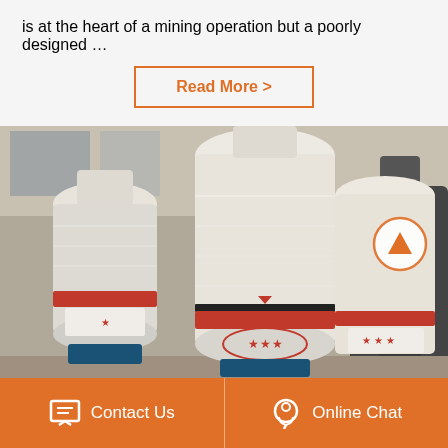is at the heart of a mining operation but a poorly designed …
Read More >
[Figure (photo): Multiple large industrial grinding mill machines wrapped in plastic protective covering, with red star brand logos visible, stored in a warehouse/factory setting ready for shipping.]
Contact Us
Online Chat